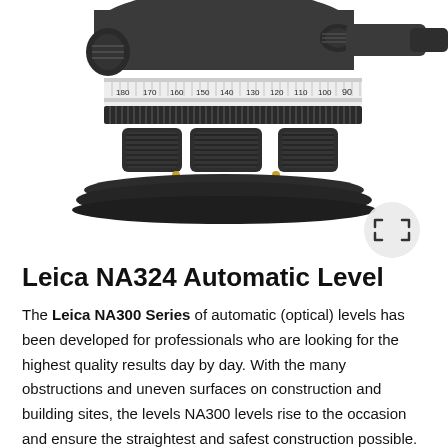[Figure (photo): Close-up photo of a Leica NA324 Automatic Level surveying instrument, showing the top and middle section of the device. The instrument is dark gray/black, showing the telescope eyepiece area, a horizontal graduated circle with degree markings (180, 170, 160, 150, 140, 130, 120, 110, 100, 90, 80, 70), focusing knobs, leveling screws, and the base plate. A circular expand/fullscreen icon button appears in the lower right of the image area.]
Leica NA324 Automatic Level
The Leica NA300 Series of automatic (optical) levels has been developed for professionals who are looking for the highest quality results day by day. With the many obstructions and uneven surfaces on construction and building sites, the levels NA300 levels rise to the occasion and ensure the straightest and safest construction possible.